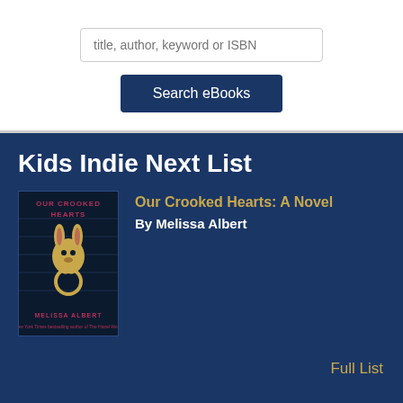title, author, keyword or ISBN
Search eBooks
Kids Indie Next List
[Figure (illustration): Book cover for 'Our Crooked Hearts' by Melissa Albert — dark background with a golden rabbit head and a ring]
Our Crooked Hearts: A Novel
By Melissa Albert
Full List
Indie Bestsellers